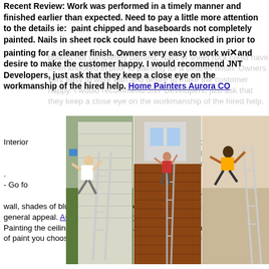Recent Review: Work was performed in a timely manner and finished earlier than expected. Need to pay a little more attention to the details ie: paint chipped and baseboards not completely painted. Nails in sheet rock could have been knocked in prior to painting for a cleaner finish. Owners very easy to work with and desire to make the customer happy. I would recommend JNT Developers, just ask that they keep a close eye on the workmanship of the hired help. Home Painters Aurora CO
[Figure (photo): Three photos side by side: person falling off a ladder near a white-sided house, a worker on a ladder on a brick house exterior, and a person falling near a ladder indoors.]
Interior painting cost is based upon the size (square footage) of each room. Nationally, the average cost per room is between $200 – $400 per room) but the real determining factor in how much the job costs is how much surface area will be painted. For instance, the pro uses actual square footage of the room, minus the space taken up by doors and windows, to determine the actual price. They paint based on actual surface area.
- Go for neutral tones. Neutral colors are popular choices, so there is plenty of use from past years that still looks fresh in the current year. In general, the most popular colors for houses are whites, beiges, taupes, creams, and greys. However, if you want to add more color on an accent wall, shades of blue, green, or warm earth tones always have a nice general appeal. Aurora House Painting
Painting the ceiling and the trim will also have an effect on cost. The type of paint you choose can also raise or lower your house painting cost. A